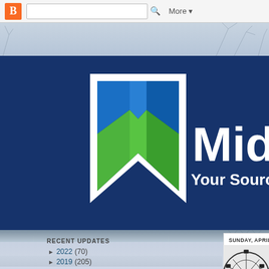[Figure (screenshot): Blogger navigation bar with orange B logo, search box, and More dropdown]
[Figure (logo): Midwest blog logo — stylized M icon in blue/green gradient with white text 'Midwes...' and tagline 'Your Source for M...' on dark navy blue banner background]
RECENT UPDATES
► 2022 (70)
► 2021 (140)
► 2020 (120)
► 2019 (205)
SUNDAY, APRIL 12, 2009
Sea World San Diego
[Figure (photo): Partial view of a Ferris wheel in black and white]